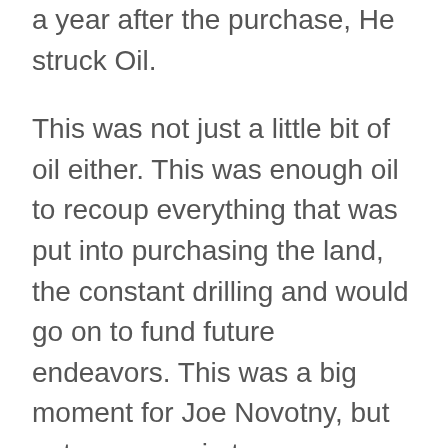a year after the purchase, He struck Oil.
This was not just a little bit of oil either. This was enough oil to recoup everything that was put into purchasing the land, the constant drilling and would go on to fund future endeavors. This was a big moment for Joe Novotny, but not everyone in town was happy for him.
After finding out that Joe had struck oil, Anna Hubka felt a little slighted, perhaps cheated. If their land had oil, then why did they sell off for so little? When she sold the land, it was for